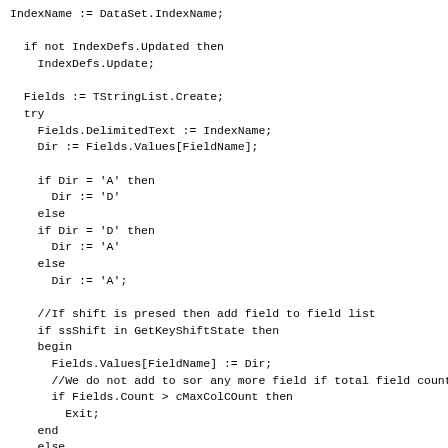IndexName := DataSet.IndexName;

  if not IndexDefs.Updated then
    IndexDefs.Update;

  Fields := TStringList.Create;
  try
    Fields.DelimitedText := IndexName;
    Dir := Fields.Values[FieldName];

    if Dir = 'A' then
      Dir := 'D'
    else
    if Dir = 'D' then
      Dir := 'A'
    else
      Dir := 'A';

    //If shift is presed then add field to field list
    if ssShift in GetKeyShiftState then
    begin
      Fields.Values[FieldName] := Dir;
      //We do not add to sor any more field if total field count exids cMaxColCOunt
      if Fields.Count > cMaxColCOunt then
        Exit;
    end
    else
    begin
      Fields.Clear;
      Fields.Values[FieldName] := Dir;
    end;